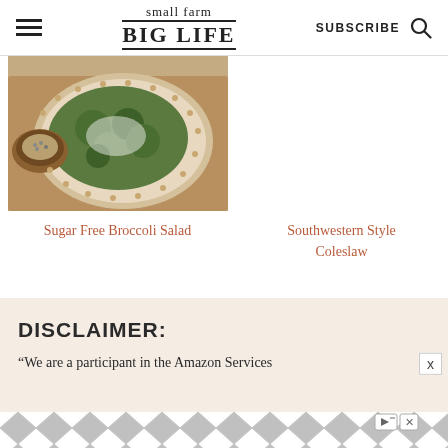small farm BIG LIFE | SUBSCRIBE
[Figure (photo): Overhead photo of a broccoli salad in a decorative bowl with a small bowl of seeds on a wooden surface]
Sugar Free Broccoli Salad
Southwestern Style Coleslaw
DISCLAIMER:
“We are a participant in the Amazon Services
[Figure (other): Advertisement banner with chevron/diamond pattern in grey, with play and close icons]